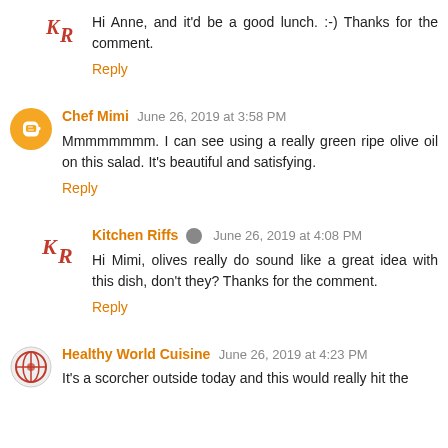Hi Anne, and it'd be a good lunch. :-) Thanks for the comment.
Reply
Chef Mimi June 26, 2019 at 3:58 PM
Mmmmmmmm. I can see using a really green ripe olive oil on this salad. It's beautiful and satisfying.
Reply
Kitchen Riffs June 26, 2019 at 4:08 PM
Hi Mimi, olives really do sound like a great idea with this dish, don't they? Thanks for the comment.
Reply
Healthy World Cuisine June 26, 2019 at 4:23 PM
It's a scorcher outside today and this would really hit the